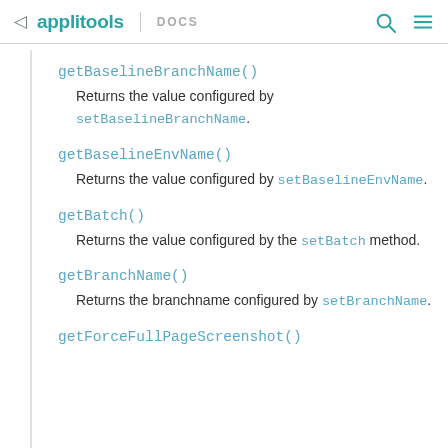applitools DOCS
getBaselineBranchName()
Returns the value configured by setBaselineBranchName.
getBaselineEnvName()
Returns the value configured by setBaselineEnvName.
getBatch()
Returns the value configured by the setBatch method.
getBranchName()
Returns the branchname configured by setBranchName.
getForceFullPageScreenshot()